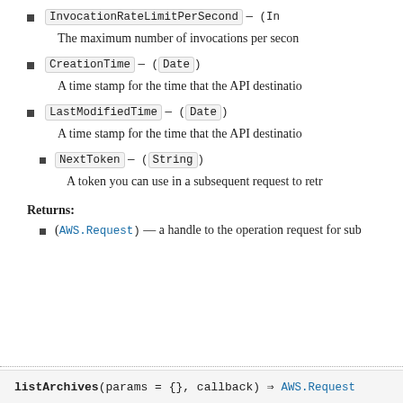InvocationRateLimitPerSecond — (In...)
The maximum number of invocations per second...
CreationTime — (Date)
A time stamp for the time that the API destination...
LastModifiedTime — (Date)
A time stamp for the time that the API destination...
NextToken — (String)
A token you can use in a subsequent request to retr...
Returns:
(AWS.Request) — a handle to the operation request for sub...
listArchives(params = {}, callback) ⇒ AWS.Request